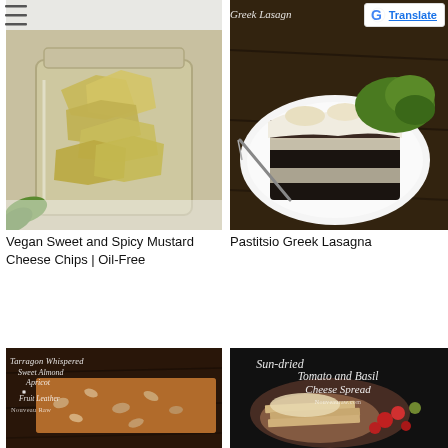[Figure (photo): Glass jar filled with golden-yellow flat chip pieces on white background - Vegan Sweet and Spicy Mustard Cheese Chips]
[Figure (photo): Slice of dark layered lasagna with white béchamel sauce and broccoli/green salad on white plate on wooden surface - Pastitsio Greek Lasagna, with partial title text overlay]
Vegan Sweet and Spicy Mustard Cheese Chips | Oil-Free
Pastitsio Greek Lasagna
[Figure (photo): Fruit leather bar with visible almond pieces on dark wooden surface, with italic white overlay text: Tarragon Whispered Sweet Almond Apricot Fruit Leather, Nouveau Raw]
[Figure (photo): Cheese spread on crackers with cherry tomatoes on dark background, with italic white overlay text: Sun-dried Tomato and Basil Cheese Spread, Nouveauraw.com]